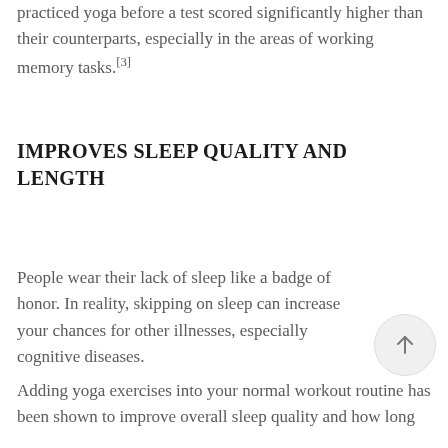practiced yoga before a test scored significantly higher than their counterparts, especially in the areas of working memory tasks.[3]
IMPROVES SLEEP QUALITY AND LENGTH
People wear their lack of sleep like a badge of honor. In reality, skipping on sleep can increase your chances for other illnesses, especially cognitive diseases.
Adding yoga exercises into your normal workout routine has been shown to improve overall sleep quality and how long